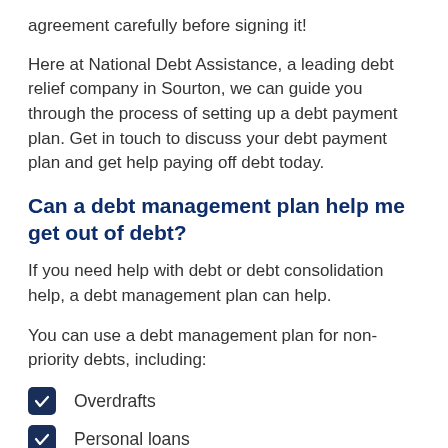agreement carefully before signing it!
Here at National Debt Assistance, a leading debt relief company in Sourton, we can guide you through the process of setting up a debt payment plan. Get in touch to discuss your debt payment plan and get help paying off debt today.
Can a debt management plan help me get out of debt?
If you need help with debt or debt consolidation help, a debt management plan can help.
You can use a debt management plan for non-priority debts, including:
Overdrafts
Personal loans
Bank loans